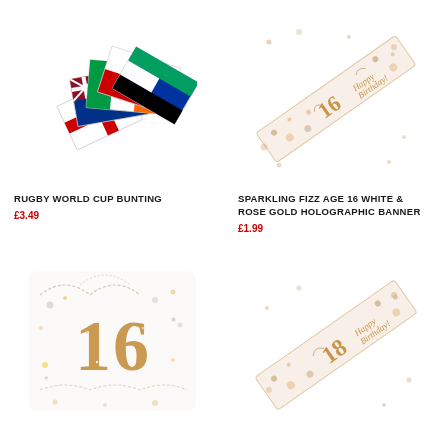[Figure (photo): Rugby World Cup Bunting - multiple country flags fanned out]
RUGBY WORLD CUP BUNTING
£3.49
[Figure (photo): Sparkling Fizz Age 16 White & Rose Gold Holographic Banner - diagonal banner with polka dots and '16 Happy Birthday' text]
SPARKLING FIZZ AGE 16 WHITE & ROSE GOLD HOLOGRAPHIC BANNER
£1.99
[Figure (photo): Age 16 party bunting/banner in white and rose gold with glitter '16' and swirl patterns]
[Figure (photo): Age 18 holographic banner in white and rose gold with 'Happy Birthday' script and polka dots]